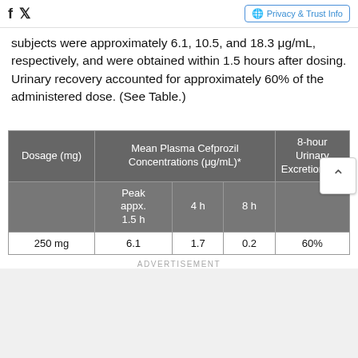Facebook Twitter | Privacy & Trust Info
subjects were approximately 6.1, 10.5, and 18.3 μg/mL, respectively, and were obtained within 1.5 hours after dosing. Urinary recovery accounted for approximately 60% of the administered dose. (See Table.)
| Dosage (mg) | Mean Plasma Cefprozil Concentrations (μg/mL)* — Peak appx. 1.5 h | Mean Plasma Cefprozil Concentrations (μg/mL)* — 4 h | Mean Plasma Cefprozil Concentrations (μg/mL)* — 8 h | 8-hour Urinary Excretion (%) |
| --- | --- | --- | --- | --- |
| 250 mg | 6.1 | 1.7 | 0.2 | 60% |
ADVERTISEMENT